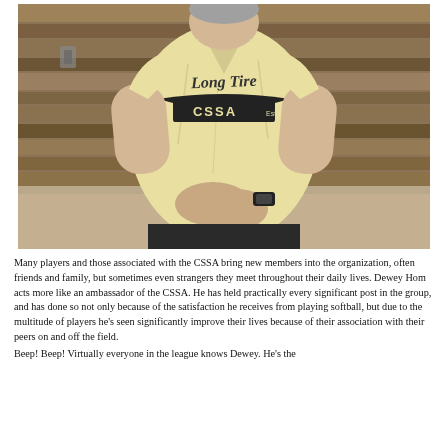[Figure (photo): A person wearing a light yellow softball jersey that reads 'Long Tire' and 'CSSA Est. 19...' standing with hands clasped, in front of a wood-panel background.]
Many players and those associated with the CSSA bring new members into the organization, often friends and family, but sometimes even strangers they meet throughout their daily lives. Dewey Hom acts more like an ambassador of the CSSA. He has held practically every significant post in the group, and has done so not only because of the satisfaction he receives from playing softball, but due to the multitude of players he's seen significantly improve their lives because of their association with their peers on and off the field.
Beep! Beep! Virtually everyone in the league knows Dewey. He's the